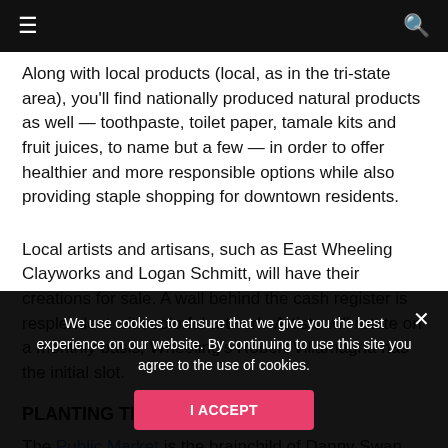≡  🔍
Along with local products (local, as in the tri-state area), you'll find nationally produced natural products as well — toothpaste, toilet paper, tamale kits and fruit juices, to name but a few — in order to offer healthier and more responsible options while also providing staple shopping for downtown residents.
Local artists and artisans, such as East Wheeling Clayworks and Logan Schmitt, will have their creations for sale. A wall behind the cash register is resplendent with colorful artwork. Artists will rotate on a monthly basis; Wheeling's Robert Villamagna has the initial slot.
PLANTING THE SEED
The Public Market is the brainchild of Danny Swan and Ken
We use cookies to ensure that we give you the best experience on our website. By continuing to use this site you agree to the use of cookies.
I ACCEPT